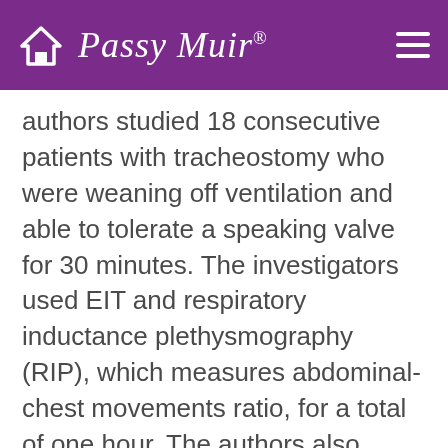Passy Muir
authors studied 18 consecutive patients with tracheostomy who were weaning off ventilation and able to tolerate a speaking valve for 30 minutes. The investigators used EIT and respiratory inductance plethysmography (RIP), which measures abdominal-chest movements ratio, for a total of one hour. The authors also collected oxygenation, end tidal carbon dioxide, respiratory rate, heart rate, and airway pressures. The findings indicated universal improvement in lung recruitment with the speaking valve pre- and post-use as